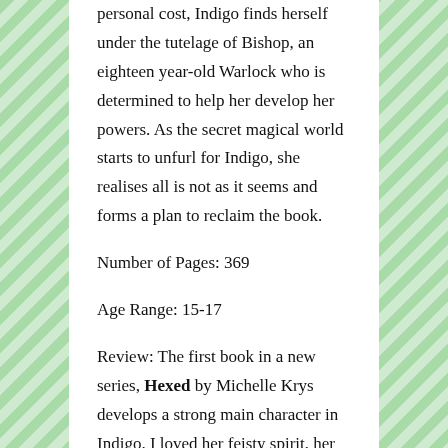personal cost, Indigo finds herself under the tutelage of Bishop, an eighteen year-old Warlock who is determined to help her develop her powers. As the secret magical world starts to unfurl for Indigo, she realises all is not as it seems and forms a plan to reclaim the book.
Number of Pages: 369
Age Range: 15-17
Review: The first book in a new series, Hexed by Michelle Krys develops a strong main character in Indigo. I loved her feisty spirit, her sense of independence, and her spunky voice as she navigates the magical world after being convinced her occult-believing mother was crazy. Indigo adjusts remarkably well to her new life, shedding her cheerleader persona and friends